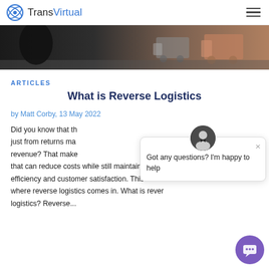TransVirtual
[Figure (photo): Hero image showing trucks on a road, partial view of a person in foreground]
ARTICLES
What is Reverse Logistics
by Matt Corby, 13 May 2022
Did you know that th[e Australian retail industry loses billions] just from returns ma[nagement each year of their annual] revenue? That make[s it crucial to find a strategy] that can reduce costs while still maintaining efficiency and customer satisfaction. This is where reverse logistics comes in. What is reverse logistics? Reverse...